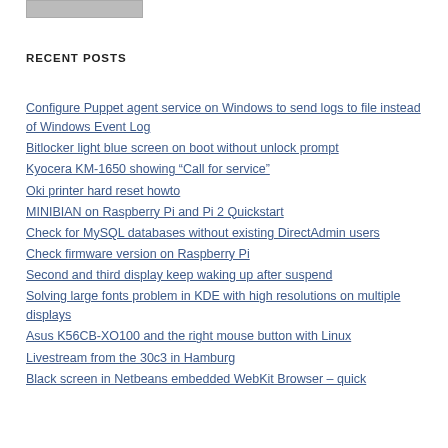[Figure (other): Small image/widget at top left]
RECENT POSTS
Configure Puppet agent service on Windows to send logs to file instead of Windows Event Log
Bitlocker light blue screen on boot without unlock prompt
Kyocera KM-1650 showing “Call for service”
Oki printer hard reset howto
MINIBIAN on Raspberry Pi and Pi 2 Quickstart
Check for MySQL databases without existing DirectAdmin users
Check firmware version on Raspberry Pi
Second and third display keep waking up after suspend
Solving large fonts problem in KDE with high resolutions on multiple displays
Asus K56CB-XO100 and the right mouse button with Linux
Livestream from the 30c3 in Hamburg
Black screen in Netbeans embedded WebKit Browser – quick